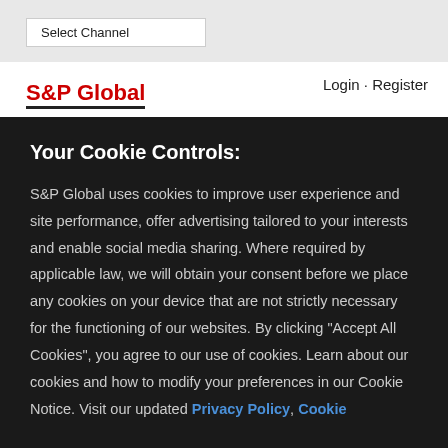Select Channel
S&P Global  Login · Register
Your Cookie Controls:
S&P Global uses cookies to improve user experience and site performance, offer advertising tailored to your interests and enable social media sharing. Where required by applicable law, we will obtain your consent before we place any cookies on your device that are not strictly necessary for the functioning of our websites. By clicking "Accept All Cookies", you agree to our use of cookies. Learn about our cookies and how to modify your preferences in our Cookie Notice. Visit our updated Privacy Policy, Cookie